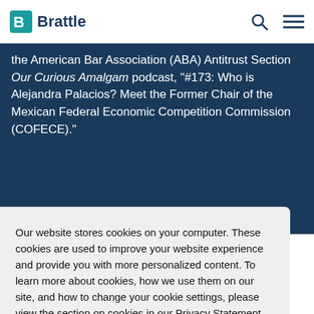Brattle
the American Bar Association (ABA) Antitrust Section Our Curious Amalgam podcast, “#173: Who is Alejandra Palacios? Meet the Former Chair of the Mexican Federal Economic Competition Commission (COFECE).”
Our website stores cookies on your computer. These cookies are used to improve your website experience and provide you with more personalized content. To learn more about cookies, how we use them on our site, and how to change your cookie settings, please view the section on cookies in our Privacy Statement.
[Figure (screenshot): Bottom portion showing a dark blue technology/circuit board image]